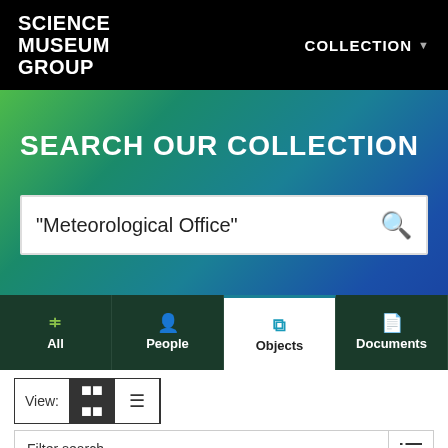SCIENCE MUSEUM GROUP | COLLECTION
SEARCH OUR COLLECTION
"Meteorological Office"
All | People | Objects | Documents
View: grid | list
Filter search